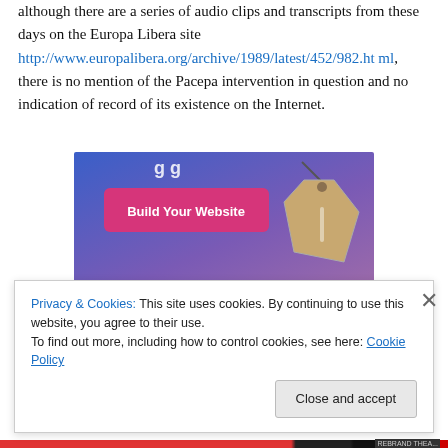although there are a series of audio clips and transcripts from these days on the Europa Libera site http://www.europalibera.org/archive/1989/latest/452/982.html, there is no mention of the Pacepa intervention in question and no indication of record of its existence on the Internet.
[Figure (screenshot): Advertisement banner with blue-to-purple gradient background showing 'Build Your Website' pink button and a price tag illustration]
Privacy & Cookies: This site uses cookies. By continuing to use this website, you agree to their use.
To find out more, including how to control cookies, see here: Cookie Policy
Close and accept